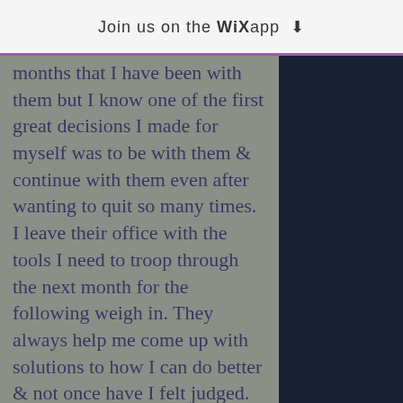Join us on the WiX app ⬇
months that I have been with them but I know one of the first great decisions I made for myself was to be with them & continue with them even after wanting to quit so many times. I leave their office with the tools I need to troop through the next month for the following weigh in. They always help me come up with solutions to how I can do better & not once have I felt judged.

At yesterday's weigh in, I lost 3.7 lbs. It wasn't a lot & I was disappointed bc I had the fucking flu for 2 weeks & was on a diet of Gatorade & ramen noodles bc it was all I could keep down so that totally screwed me over. Then I had to move my appointment and a week earlier...so the day Sabrina...